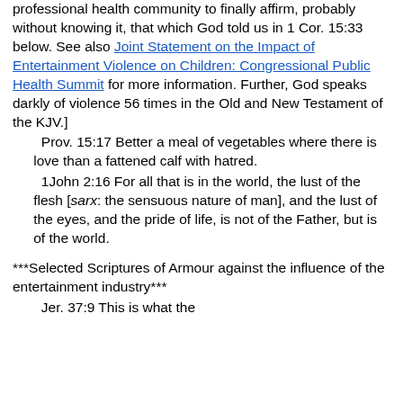professional health community to finally affirm, probably without knowing it, that which God told us in 1 Cor. 15:33 below. See also Joint Statement on the Impact of Entertainment Violence on Children: Congressional Public Health Summit for more information. Further, God speaks darkly of violence 56 times in the Old and New Testament of the KJV.]
Prov. 15:17 Better a meal of vegetables where there is love than a fattened calf with hatred.
1John 2:16 For all that is in the world, the lust of the flesh [sarx: the sensuous nature of man], and the lust of the eyes, and the pride of life, is not of the Father, but is of the world.
***Selected Scriptures of Armour against the influence of the entertainment industry***
Jer. 37:9 This is what the